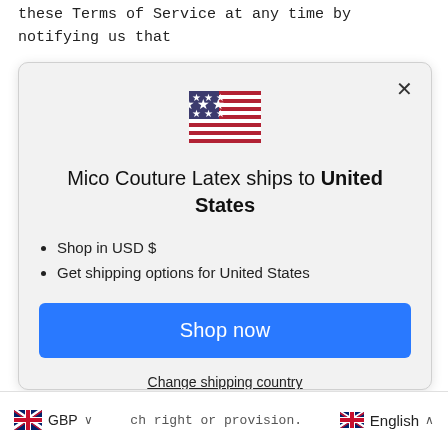these Terms of Service at any time by notifying us that
[Figure (screenshot): A modal dialog overlay showing a US flag emoji at the top, the heading 'Mico Couture Latex ships to United States', two bullet points ('Shop in USD $' and 'Get shipping options for United States'), a blue 'Shop now' button, and a 'Change shipping country' underlined link. The modal has a grey background with rounded corners and an X close button in the top right.]
Shop in USD $
Get shipping options for United States
ch right or provision.
GBP
English